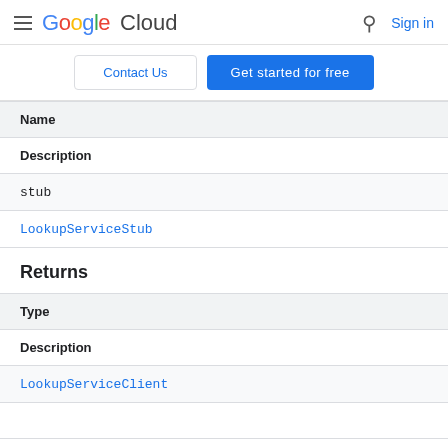Google Cloud | Sign in
Contact Us | Get started for free
| Name | Description |
| --- | --- |
| stub | LookupServiceStub |
Returns
| Type | Description |
| --- | --- |
| LookupServiceClient |  |